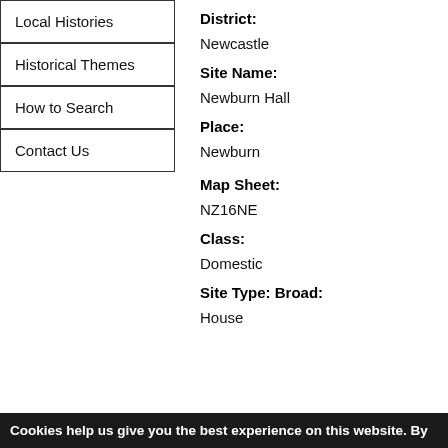Local Histories
Historical Themes
How to Search
Contact Us
District:
Newcastle
Site Name:
Newburn Hall
Place:
Newburn
Map Sheet:
NZ16NE
Class:
Domestic
Site Type: Broad:
House
Cookies help us give you the best experience on this website. By